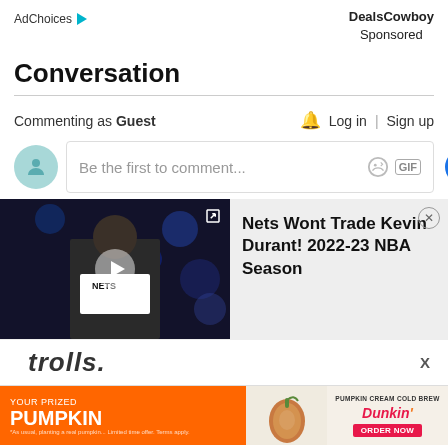AdChoices  DealsCowboy Sponsored
Conversation
Commenting as Guest
Log in | Sign up
Be the first to comment...
[Figure (screenshot): Video thumbnail showing a basketball player in a white Nets shirt with bokeh background lights, play button overlay and expand icon]
Nets Wont Trade Kevin Durant! 2022-23 NBA Season
trolls.
[Figure (photo): Dunkin advertisement banner: YOUR PRIZED PUMPKIN with pumpkin cream cold brew and order now button]